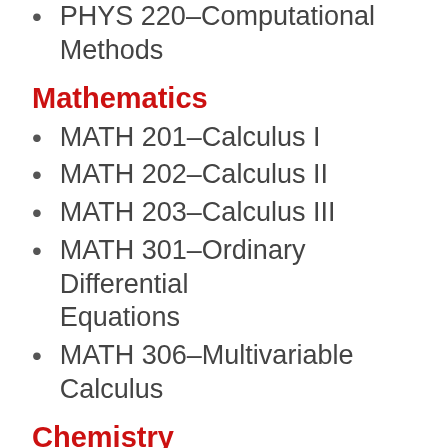PHYS 220–Computational Methods
Mathematics
MATH 201–Calculus I
MATH 202–Calculus II
MATH 203–Calculus III
MATH 301–Ordinary Differential Equations
MATH 306–Multivariable Calculus
Chemistry
CHEM 111/111L–General Chemistry I: General